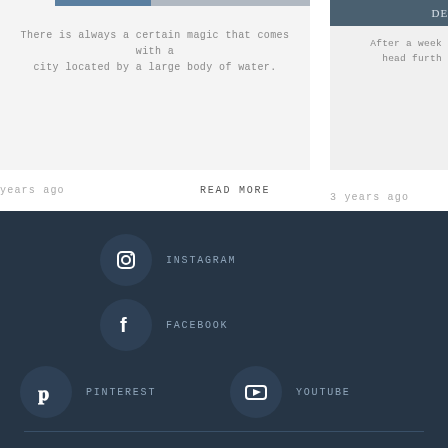There is always a certain magic that comes with a city located by a large body of water.
READ MORE
years ago
DE
After a week head furth
3 years ago
INSTAGRAM
FACEBOOK
PINTEREST
YOUTUBE